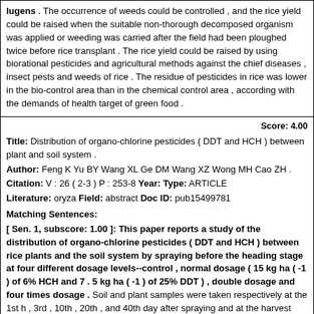lugens . The occurrence of weeds could be controlled , and the rice yield could be raised when the suitable non-thorough decomposed organism was applied or weeding was carried after the field had been ploughed twice before rice transplant . The rice yield could be raised by using biorational pesticides and agricultural methods against the chief diseases , insect pests and weeds of rice . The residue of pesticides in rice was lower in the bio-control area than in the chemical control area , according with the demands of health target of green food .
Score: 4.00
Title: Distribution of organo-chlorine pesticides ( DDT and HCH ) between plant and soil system .
Author: Feng K Yu BY Wang XL Ge DM Wang XZ Wong MH Cao ZH .
Citation: V : 26 ( 2-3 ) P : 253-8 Year: Type: ARTICLE
Literature: oryza Field: abstract Doc ID: pub15499781
Matching Sentences:
[ Sen. 1, subscore: 1.00 ]: This paper reports a study of the distribution of organo-chlorine pesticides ( DDT and HCH ) between rice plants and the soil system by spraying before the heading stage at four different dosage levels--control , normal dosage ( 15 kg ha ( -1 ) of 6% HCH and 7 . 5 kg ha ( -1 ) of 25% DDT ) , double dosage and four times dosage . Soil and plant samples were taken respectively at the 1st h , 3rd , 10th , 20th , and 40th day after spraying and at the harvest time . The results indicate that less than 5% of HCH and 15% of DDT were absorbed by the surface of rice leaves for normal dosage . Most of both pesticides moved into the soil in solution after spraying . Compared with DDT , HCH was degraded and run off more easily . HCH residues in the surface soil layer ( 1-3 cm ) were already below 6 . 4 microg kg ( -1 ) at the mature stage , lower than Chinese